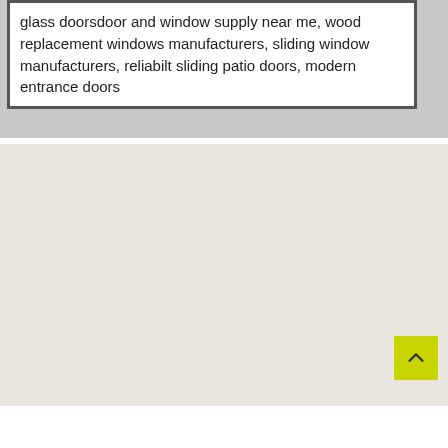glass doorsdoor and window supply near me, wood replacement windows manufacturers, sliding window manufacturers, reliabilt sliding patio doors, modern entrance doors
[Figure (map): A light grey map background with no visible street details, with a yellow-green scroll-to-top button in the bottom right corner containing an upward chevron arrow.]